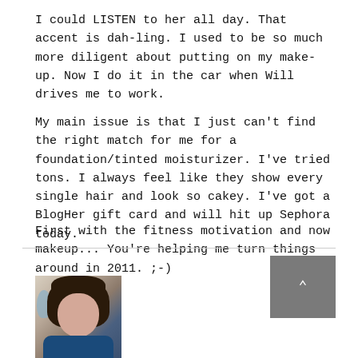I could LISTEN to her all day. That accent is dah-ling. I used to be so much more diligent about putting on my make-up. Now I do it in the car when Will drives me to work.
My main issue is that I just can't find the right match for me for a foundation/tinted moisturizer. I've tried tons. I always feel like they show every single hair and look so cakey. I've got a BlogHer gift card and will hit up Sephora today.
First with the fitness motivation and now makeup... You're helping me turn things around in 2011. ;-)
[Figure (photo): Portrait photo of a dark-haired woman with bangs wearing a blue top]